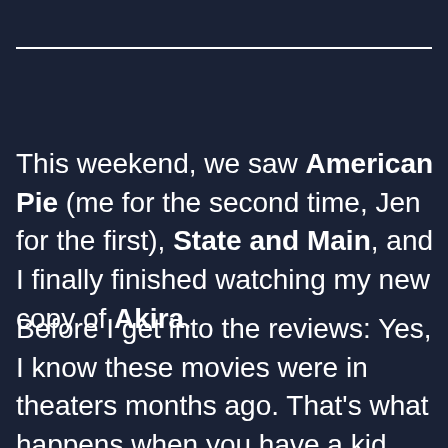This weekend, we saw American Pie (me for the second time, Jen for the first), State and Main, and I finally finished watching my new copy of Akira.
Before I get into the reviews: Yes, I know these movies were in theaters months ago. That's what happens when you have a kid. You watch movies on video instead of going to the theater. So, shut up.